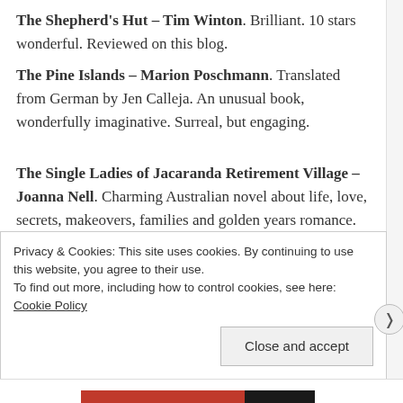The Shepherd's Hut – Tim Winton. Brilliant. 10 stars wonderful. Reviewed on this blog.
The Pine Islands – Marion Poschmann. Translated from German by Jen Calleja. An unusual book, wonderfully imaginative. Surreal, but engaging.
The Single Ladies of Jacaranda Retirement Village – Joanna Nell. Charming Australian novel about life, love, secrets, makeovers, families and golden years romance. A relaxing, easy read.
Privacy & Cookies: This site uses cookies. By continuing to use this website, you agree to their use. To find out more, including how to control cookies, see here: Cookie Policy
Close and accept